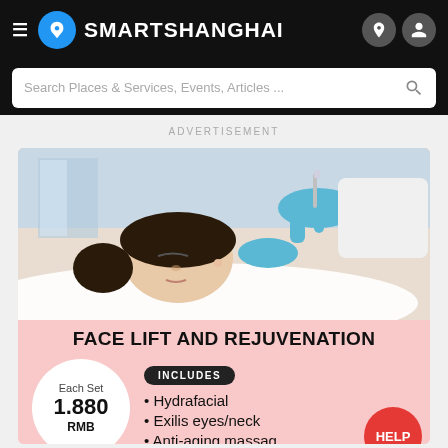SmartShanghai
Search Places & Services, Events, Articles ...
ADVERTISEMENT
[Figure (photo): Woman receiving facial injection treatment from a practitioner wearing blue gloves in a clinical setting]
FACE LIFT AND REJUVENATION
Each Set 1.880 RMB
INCLUDES
Hydrafacial
Exilis eyes/neck
Anti-aging massag